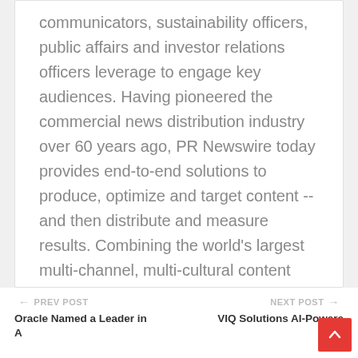communicators, sustainability officers, public affairs and investor relations officers leverage to engage key audiences. Having pioneered the commercial news distribution industry over 60 years ago, PR Newswire today provides end-to-end solutions to produce, optimize and target content -- and then distribute and measure results. Combining the world's largest multi-channel, multi-cultural content distribution and optimization network with comprehensive workflow tools and platforms, PR Newswire powers the stories of organizations around the world. PR Newswire serves tens of thousands of clients from offices in the Americas, Europe, Middle East, Africa and Asia-Pacific regions.
PREV POST | Oracle Named a Leader in ... || NEXT POST | VIQ Solutions AI-Powered Solution For...